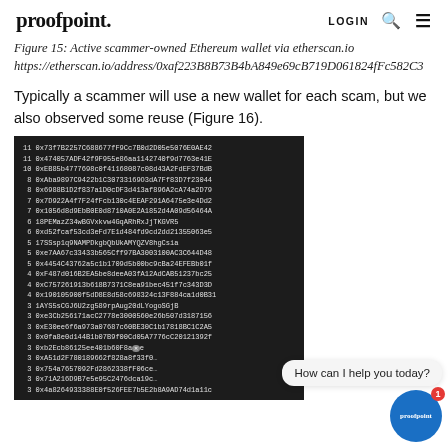proofpoint.  LOGIN 🔍 ☰
Figure 13: Active scammer-owned Ethereum wallet via etherscan.io https://etherscan.io/address/0xaf223B8B73B4bA849e69cB719D061824fFc582C3
Typically a scammer will use a new wallet for each scam, but we also observed some reuse (Figure 16).
[Figure (screenshot): Dark background code block listing Ethereum wallet addresses and counts, including entries like: 11 0x73f7B2257C688677fF9Cc7B0d2D05e5076E0AE42, 11 0x474057ADF42f9F955e86aa1142740f9d7763e41E, 10 0xEB85b4777698c0f41168087c08d43A2FdEF37BdB, and many more rows of wallet addresses with transaction counts.]